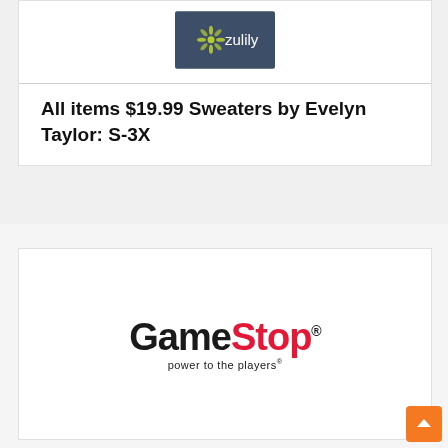[Figure (logo): Zulily logo — dark blue/slate background with a stylized white flower/snowflake and 'zulily' wordmark in white lowercase text]
All items $19.99 Sweaters by Evelyn Taylor: S-3X
[Figure (logo): GameStop logo — 'Game' in bold black and 'Stop' in bold red with tagline 'power to the players' in small black text below]